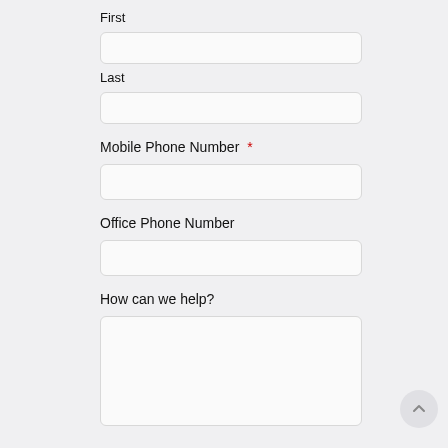First
Last
Mobile Phone Number *
Office Phone Number
How can we help?